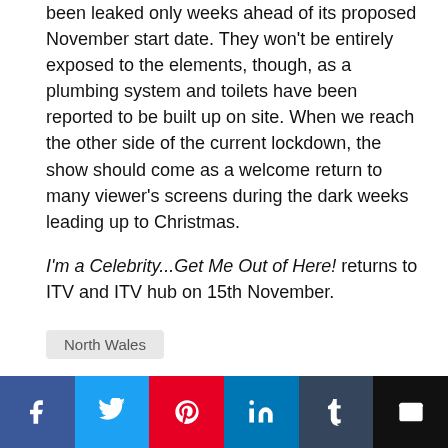been leaked only weeks ahead of its proposed November start date. They won't be entirely exposed to the elements, though, as a plumbing system and toilets have been reported to be built up on site. When we reach the other side of the current lockdown, the show should come as a welcome return to many viewer's screens during the dark weeks leading up to Christmas.
I'm a Celebrity...Get Me Out of Here! returns to ITV and ITV hub on 15th November.
North Wales